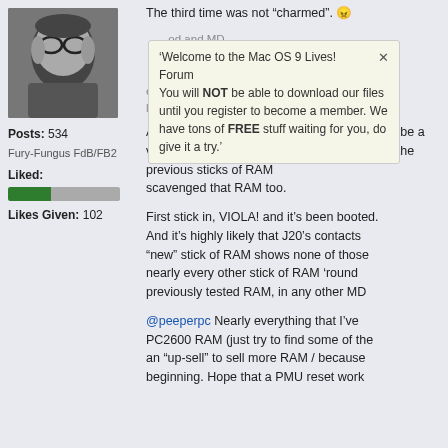[Figure (photo): Black and white avatar photo of a person wearing glasses]
Posts: 534
Fury-Fungus FdB/FB2
Liked:
[Figure (infographic): Green/gray progress bar showing likes ratio]
Likes Given: 102
The third time was not "charmed". 😠
'Welcome to the Mac OS 9 Lives! Forum × You will NOT be able to download our files until you register to become a member. We have tons of FREE stuff waiting for you, do give it a try.'
And as RAM is often changed in and out, maybe a very slight amount of wear might... trying all of the previous sticks of RAM ... scavenged that RAM too.
First stick in, VIOLA! and it's been boot... And it's highly likely that J20's contacts... "new" stick of RAM shows none of those... nearly every other stick of RAM 'round... previously tested RAM, in any other MD...
@peeperpc Nearly everything that I've... PC2600 RAM (just try to find some of th... an "up-sell" to sell more RAM / because... beginning. Hope that a PMU reset work...